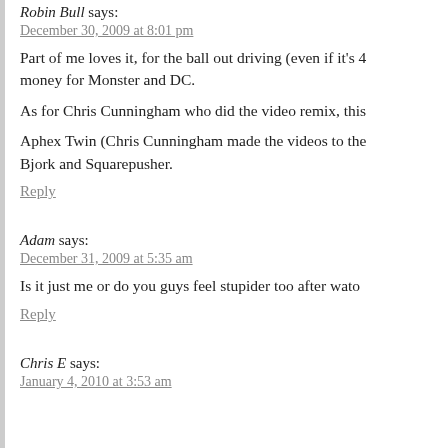Robin Bull says:
December 30, 2009 at 8:01 pm
Part of me loves it, for the ball out driving (even if it's 4... money for Monster and DC.
As for Chris Cunningham who did the video remix, this
Aphex Twin (Chris Cunningham made the videos to the... Bjork and Squarepusher.
Reply
Adam says:
December 31, 2009 at 5:35 am
Is it just me or do you guys feel stupider too after wato...
Reply
Chris E says:
January 4, 2010 at 3:53 am